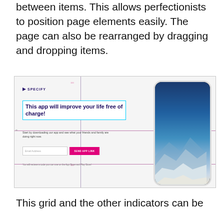between items. This allows perfectionists to position page elements easily. The page can also be rearranged by dragging and dropping items.
[Figure (screenshot): Screenshot of a web design tool (Specify) showing a landing page with crosshair alignment guides. Left panel shows a headline 'This app will improve your life free of charge!' with cyan border, subtext, email input, and pink 'SEND APP LINK' button. Right side shows a phone mockup with a mountain/sky photo.]
This grid and the other indicators can be